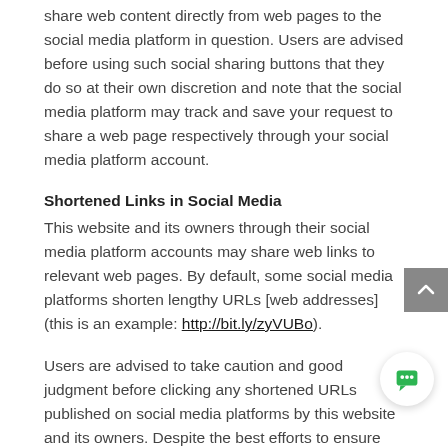share web content directly from web pages to the social media platform in question. Users are advised before using such social sharing buttons that they do so at their own discretion and note that the social media platform may track and save your request to share a web page respectively through your social media platform account.
Shortened Links in Social Media
This website and its owners through their social media platform accounts may share web links to relevant web pages. By default, some social media platforms shorten lengthy URLs [web addresses] (this is an example: http://bit.ly/zyVUBo).
Users are advised to take caution and good judgment before clicking any shortened URLs published on social media platforms by this website and its owners. Despite the best efforts to ensure only genuine URLs are published many social media platforms are prone